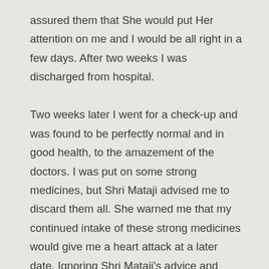assured them that She would put Her attention on me and I would be all right in a few days. After two weeks I was discharged from hospital. Two weeks later I went for a check-up and was found to be perfectly normal and in good health, to the amazement of the doctors. I was put on some strong medicines, but Shri Mataji advised me to discard them all. She warned me that my continued intake of these strong medicines would give me a heart attack at a later date. Ignoring Shri Mataji's advice and thinking that out of caution I had to take these medicines, I went on for a while till Shri Mataji sent another warning. I then discontinued the medicines, but it was a bit too late. In 1973 I had a severe heart attack and was rushed to Jaslok Hospital, Mumbai, where I was examined and declared dead, my pulse having totally failed. Shri Mataji was at that time in London. Fortunately, She could be contacted over the telephone. Her attention and Her blessings were given to me from London and I